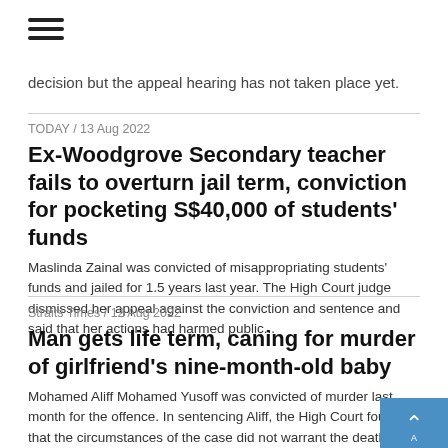[Figure (other): Hamburger menu icon (three horizontal lines)]
decision but the appeal hearing has not taken place yet.
TODAY / 13 Aug 2022
Ex-Woodgrove Secondary teacher fails to overturn jail term, conviction for pocketing S$40,000 of students' funds
Maslinda Zainal was convicted of misappropriating students' funds and jailed for 1.5 years last year. The High Court judge dismissed her appeal against the conviction and sentence and said that her actions had harmed public...
Straits Times / 12 Aug 2022
Man gets life term, caning for murder of girlfriend's nine-month-old baby
Mohamed Aliff Mohamed Yusoff was convicted of murder last month for the offence. In sentencing Aliff, the High Court found that the circumstances of the case did not warrant the death penalty.